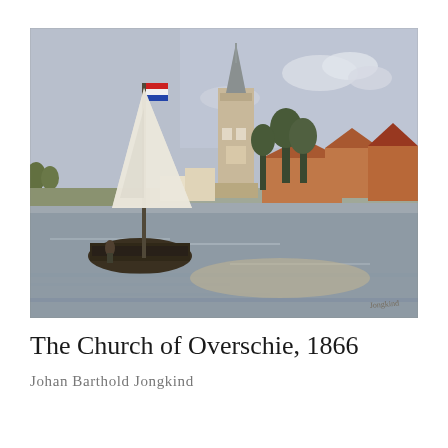[Figure (illustration): Oil painting 'The Church of Overschie, 1866' by Johan Barthold Jongkind. A Dutch landscape scene depicting a sailing vessel with a tall mast and white sail on a calm river or canal in the foreground. In the background stands a prominent church tower with a decorative spire and clock faces, surrounded by Dutch buildings with red-tiled roofs on the right side. Trees and a flat horizon line are visible. The sky is pale blue-grey with light clouds. A small Dutch flag (red, white, blue horizontal stripes) flies from the mast top. The painting style is impressionistic with loose brushwork.]
The Church of Overschie, 1866
Johan Barthold Jongkind